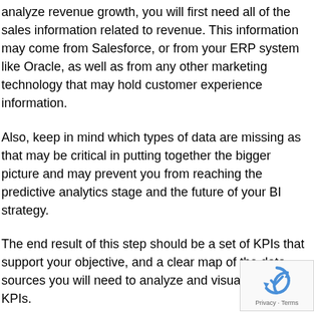analyze revenue growth, you will first need all of the sales information related to revenue. This information may come from Salesforce, or from your ERP system like Oracle, as well as from any other marketing technology that may hold customer experience information.
Also, keep in mind which types of data are missing as that may be critical in putting together the bigger picture and may prevent you from reaching the predictive analytics stage and the future of your BI strategy.
The end result of this step should be a set of KPIs that support your objective, and a clear map of the data sources you will need to analyze and visualize these KPIs.